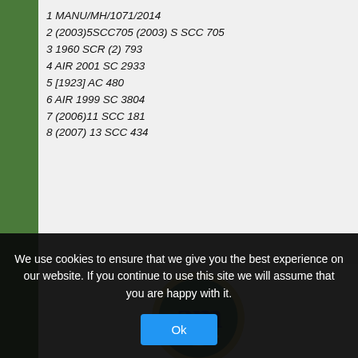1 MANU/MH/1071/2014
2 (2003)5SCC705 (2003) S SCC 705
3 1960 SCR (2) 793
4 AIR 2001 SC 2933
5 [1923] AC 480
6 AIR 1999 SC 3804
7 (2006)11 SCC 181
8 (2007) 13 SCC 434
[Figure (logo): Amarchand Mangaldas law firm logo: circular emblem with 'am' monogram in dark blue on green background with yellow border, below which reads 'amarchand mangaldas' in blue serif font]
For further information, please contact:
Cookie notice: We use cookies to ensure that we give you the best experience on our website. If you continue to use this site we will assume that you are happy with it.